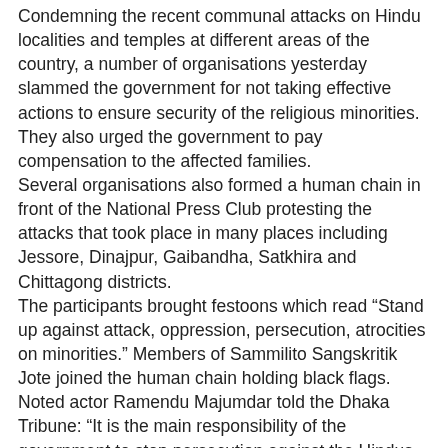Condemning the recent communal attacks on Hindu localities and temples at different areas of the country, a number of organisations yesterday slammed the government for not taking effective actions to ensure security of the religious minorities. They also urged the government to pay compensation to the affected families. Several organisations also formed a human chain in front of the National Press Club protesting the attacks that took place in many places including Jessore, Dinajpur, Gaibandha, Satkhira and Chittagong districts. The participants brought festoons which read “Stand up against attack, oppression, persecution, atrocities on minorities.” Members of Sammilito Sangskritik Jote joined the human chain holding black flags. Noted actor Ramendu Majumdar told the Dhaka Tribune: “It is the main responsibility of the government to stop persecution against the Hindus. Citizens’ protest is a must to put an end to such attacks.” Z Tariq Ali, a social worker and adviser of the Liberation War Museum, told the Dhaka Tribune: “I am ashamed. We do not want to see Bangladesh as a country of Muslims. It is a